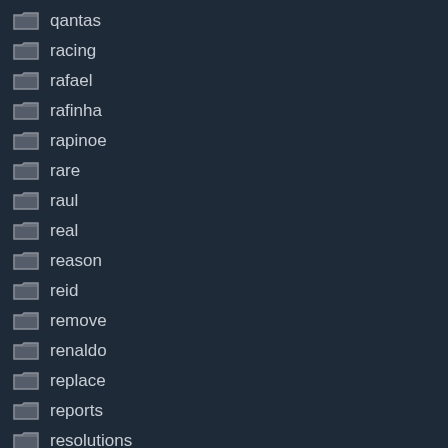qantas
racing
rafael
rafinha
rapinoe
rare
raul
real
reason
reid
remove
renaldo
replace
reports
resolutions
retrieving
review
revolution